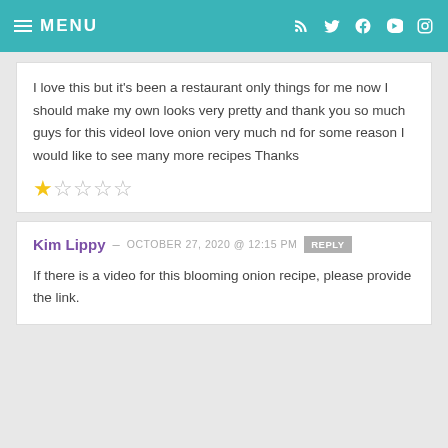MENU
I love this but it's been a restaurant only things for me now I should make my own looks very pretty and thank you so much guys for this videoI love onion very much nd for some reason I would like to see many more recipes Thanks
★☆☆☆☆
Kim Lippy – OCTOBER 27, 2020 @ 12:15 PM REPLY
If there is a video for this blooming onion recipe, please provide the link.